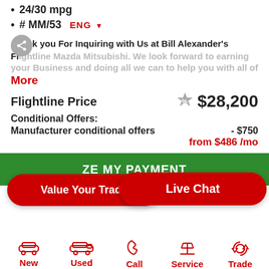24/30 mpg
# MM/53
Thank you For Inquiring with Us at Bill Alexander's Flightline Mazda Mitsubishi. We look forward to earning your Business and doing all we can to help you with all of
More
Flightline Price   $28,200
Conditional Offers:
Manufacturer conditional offers   - $750
from $486 /mo
Value Your Trade
ZE MY PAYMENT
Live Chat
New
Used
Call
Service
Trade